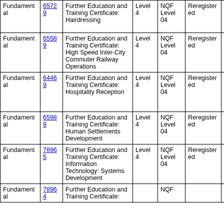| Type | ID | Qualification Name | Level | NQF Level | Status | End Date | Notes |
| --- | --- | --- | --- | --- | --- | --- | --- |
| Fundamental | 65729 | Further Education and Training Certificate: Hairdressing | Level 4 | NQF Level 04 | Reregistered | 2023-06-30 | P re a Q |
| Fundamental | 65589 | Further Education and Training Certificate: High Speed Inter-City Commuter Railway Operations | Level 4 | NQF Level 04 | Reregistered | 2023-06-30 | T |
| Fundamental | 64469 | Further Education and Training Certificate: Hospitality Reception | Level 4 | NQF Level 04 | Reregistered | 2023-06-30 | A P re a C |
| Fundamental | 65989 | Further Education and Training Certificate: Human Settlements Development | Level 4 | NQF Level 04 | Reregistered | 2023-06-30 | C |
| Fundamental | 78965 | Further Education and Training Certificate: Information Technology: Systems Development | Level 4 | NQF Level 04 | Reregistered | 2023-06-30 | M |
| Fundamental | 78964 | Further Education and Training Certificate: |  | NQF |  | 2023- |  |